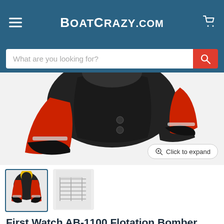BoatCrazy.com
[Figure (screenshot): Search bar with placeholder text 'What are you looking for?' and red search button]
[Figure (photo): Close-up of First Watch AB-1100 Flotation Bomber Jacket in red and black, showing arms and torso with reflective stripe. Button 'Click to expand' in lower right.]
[Figure (photo): Thumbnail of First Watch AB-1100 Flotation Bomber Jacket - full jacket view, selected]
[Figure (photo): Second thumbnail showing jacket spec/size chart image]
First Watch AB-1100 Flotation Bomber Jacket - Red/Black - XXL [AB-1100-RB-XXL]